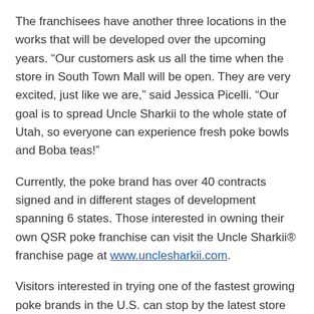The franchisees have another three locations in the works that will be developed over the upcoming years. “Our customers ask us all the time when the store in South Town Mall will be open. They are very excited, just like we are,” said Jessica Picelli. “Our goal is to spread Uncle Sharkii to the whole state of Utah, so everyone can experience fresh poke bowls and Boba teas!”
Currently, the poke brand has over 40 contracts signed and in different stages of development spanning 6 states. Those interested in owning their own QSR poke franchise can visit the Uncle Sharkii® franchise page at www.unclesharkii.com.
Visitors interested in trying one of the fastest growing poke brands in the U.S. can stop by the latest store at 10450 South State Street Space #FC05, Sandy, UT 84070 later this summer.
About Uncle Sharkii Poke Bar®
Headquartered in the San Francisco Bay Area in...